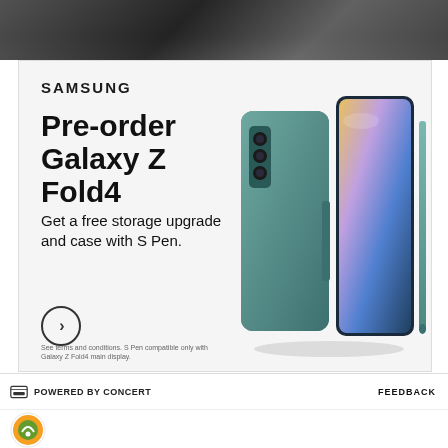[Figure (photo): Dark photo of a person in the background, partially visible at the top of the page]
[Figure (illustration): Samsung advertisement: Pre-order Galaxy Z Fold4 ad featuring the phone in teal/green color with S Pen case, on light gray background]
SAMSUNG
Pre-order Galaxy Z Fold4
Get a free storage upgrade and case with S Pen.
See terms and conditions. S Pen compatible only with Galaxy Z Fold4 main display.
POWERED BY CONCERT   FEEDBACK
[Figure (logo): Site logo: orange/green circular logo on bottom left]
[Figure (illustration): Twitter bird icon (blue) and Facebook f icon (blue) for social sharing]